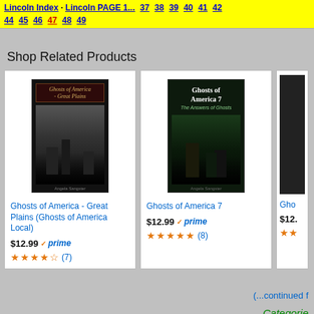Lincoln Index · Lincoln PAGE 1... 37 38 39 40 41 42 44 45 46 47 48 49
Shop Related Products
[Figure (photo): Book cover for Ghosts of America - Great Plains (Ghosts of America Local)]
Ghosts of America - Great Plains (Ghosts of America Local)
$12.99 prime (7 reviews, ~3.5 stars)
[Figure (photo): Book cover for Ghosts of America 7]
Ghosts of America 7
$12.99 prime (8 reviews, 5 stars)
(...continued f
Categorie